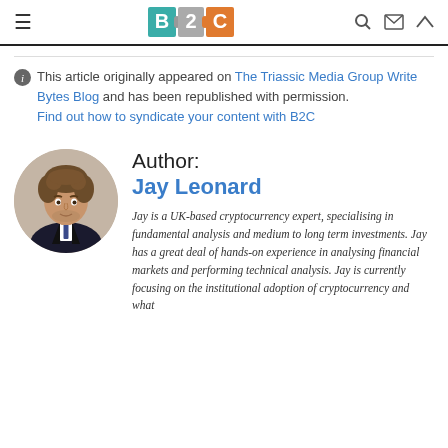B2C
This article originally appeared on The Triassic Media Group Write Bytes Blog and has been republished with permission. Find out how to syndicate your content with B2C
Author: Jay Leonard
[Figure (photo): Circular portrait photo of Jay Leonard, a young man with curly hair wearing a dark suit and tie, against a beige background]
Jay is a UK-based cryptocurrency expert, specialising in fundamental analysis and medium to long term investments. Jay has a great deal of hands-on experience in analysing financial markets and performing technical analysis. Jay is currently focusing on the institutional adoption of cryptocurrency and what